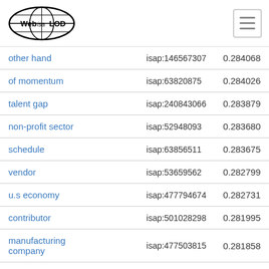Web isa LOD [navigation]
| term | isap id | score |
| --- | --- | --- |
| other hand | isap:146567307 | 0.284068 |
| of momentum | isap:63820875 | 0.284026 |
| talent gap | isap:240843066 | 0.283879 |
| non-profit sector | isap:52948093 | 0.283680 |
| schedule | isap:63856511 | 0.283675 |
| vendor | isap:53659562 | 0.282799 |
| u.s economy | isap:477794674 | 0.282731 |
| contributor | isap:501028298 | 0.281995 |
| manufacturing company | isap:477503815 | 0.281858 |
| company in the world | isap:477503838 | 0.281673 |